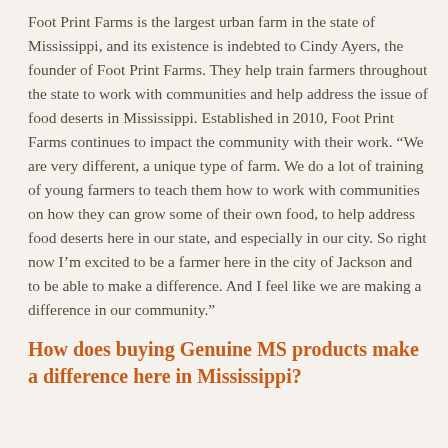Foot Print Farms is the largest urban farm in the state of Mississippi, and its existence is indebted to Cindy Ayers, the founder of Foot Print Farms. They help train farmers throughout the state to work with communities and help address the issue of food deserts in Mississippi. Established in 2010, Foot Print Farms continues to impact the community with their work. “We are very different, a unique type of farm. We do a lot of training of young farmers to teach them how to work with communities on how they can grow some of their own food, to help address food deserts here in our state, and especially in our city. So right now I’m excited to be a farmer here in the city of Jackson and to be able to make a difference. And I feel like we are making a difference in our community.”
How does buying Genuine MS products make a difference here in Mississippi?